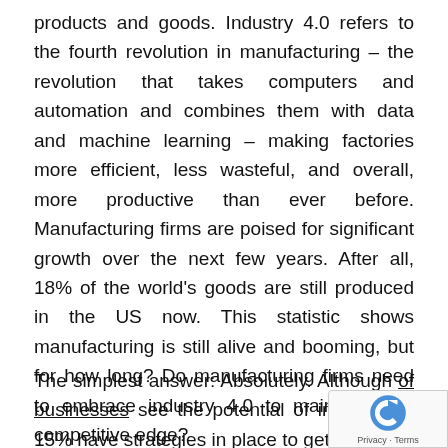products and goods. Industry 4.0 refers to the fourth revolution in manufacturing – the revolution that takes computers and automation and combines them with data and machine learning – making factories more efficient, less wasteful, and overall, more productive than ever before. Manufacturing firms are poised for significant growth over the next few years. After all, 18% of the world's goods are still produced in the US now. This statistic shows manufacturing is still alive and booming, but for how long? Do manufacturing firms need to embrace industry 4.0 to maintain their competitive edge?
The simplest answer: Absolutely. Although [many] of businesses see the potential of industry [4.0], only 15% have strategies in place to get there